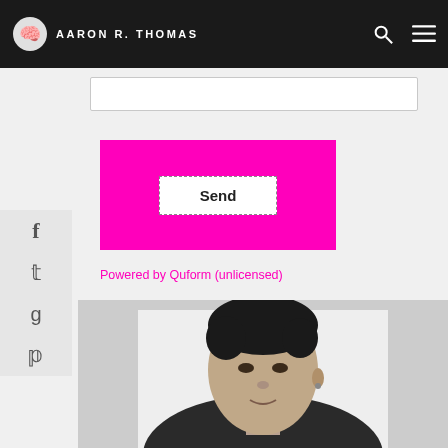AARON R. THOMAS
[Figure (screenshot): Text input field (form element)]
[Figure (screenshot): Pink Send button with white inner button]
Powered by Quform (unlicensed)
[Figure (photo): Black and white portrait photo of a man with dark curly hair, wearing a dark jacket, looking slightly upward]
[Figure (other): Social media icons sidebar: Facebook, Twitter, Google+, Pinterest]